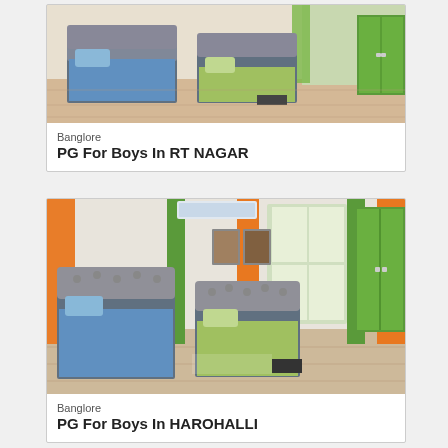[Figure (photo): Bedroom with two single beds with blue and green bedding, tufted grey headboards, wooden floor, and a green wardrobe with curtains in background]
Banglore
PG For Boys In RT NAGAR
[Figure (photo): Bedroom with two single beds with blue and green bedding, tufted grey headboards, orange and green curtains, pictures on wall, and a green wardrobe]
Banglore
PG For Boys In HAROHALLI